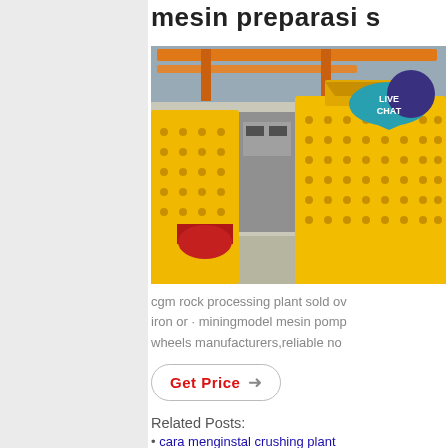mesin preparasi s
[Figure (photo): Yellow industrial rock crushing / impact mill machine inside a factory warehouse, with orange steel beams visible in the background. A teal 'LIVE CHAT' speech bubble badge is overlaid on the top-right of the image.]
cgm rock processing plant sold ov iron or · miningmodel mesin pomp wheels manufacturers,reliable no
Get Price →
Related Posts:
cara menginstal crushing plant
crusher portable vaporizer p
alat malta grinding mill
jaw crusher 42 30 harga bekas
berat agregat batu
kutipan pabrik bola
untuk dijual hammer mill crusher
pabrikan pemecah batu portabel i